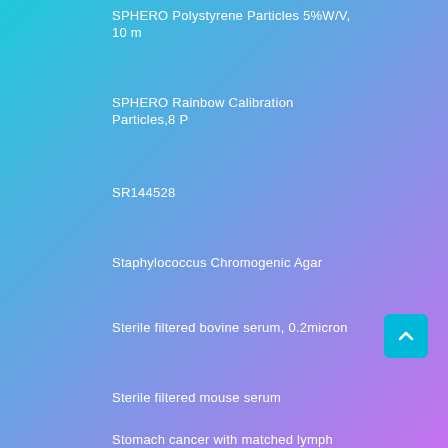SPHERO Polystyrene Particles 5%W/V, 10 m
SPHERO Rainbow Calibration Particles,8 P
SR144528
Staphylococcus Chromogenic Agar
Sterile filtered bovine serum, 0.2micron
Sterile filtered mouse serum
Stomach cancer with matched lymph